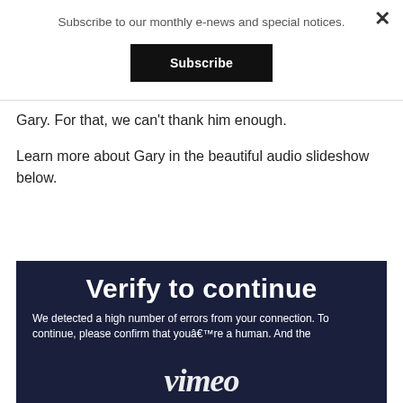Subscribe to our monthly e-news and special notices.
Subscribe
×
Gary. For that, we can't thank him enough.
Learn more about Gary in the beautiful audio slideshow below.
[Figure (screenshot): Vimeo verification screen with dark navy background showing 'Verify to continue' heading and text 'We detected a high number of errors from your connection. To continue, please confirm that youâ€™re a human. And the Vimeo logo at the bottom.']